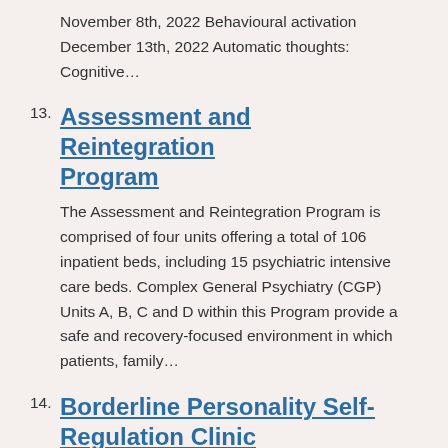November 8th, 2022 Behavioural activation December 13th, 2022 Automatic thoughts: Cognitive…
13. Assessment and Reintegration Program
The Assessment and Reintegration Program is comprised of four units offering a total of 106 inpatient beds, including 15 psychiatric intensive care beds. Complex General Psychiatry (CGP) Units A, B, C and D within this Program provide a safe and recovery-focused environment in which patients, family…
14. Borderline Personality Self-Regulation Clinic